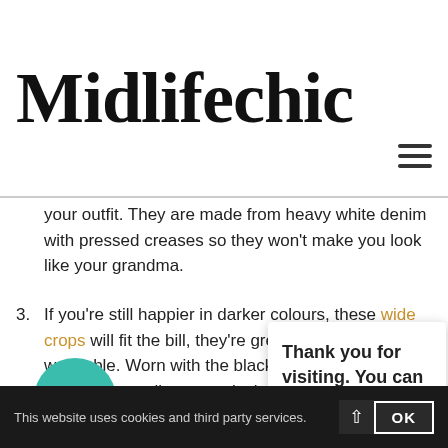Midlifechic
your outfit. They are made from heavy white denim with pressed creases so they won't make you look like your grandma.
If you're still happier in darker colours, these wide crops will fit the bill, they're great quality and washable. Worn with the black jacket they will also refer...ally start...lush...ami... a great price for real silk, the lace will show above and below the jacket, making it a lovely desk to dinner option
[Figure (infographic): Thank you for visiting popup with coffee cup icon button]
This website uses cookies and third party services. OK